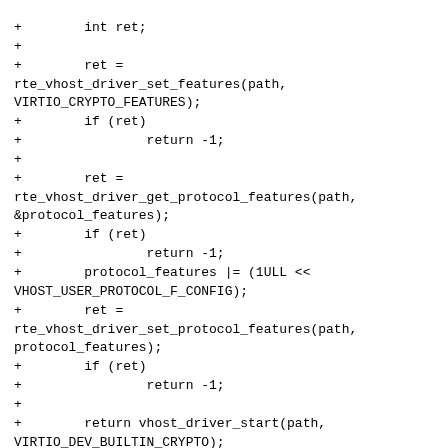Diff/code fragment showing additions to a vhost crypto driver source file